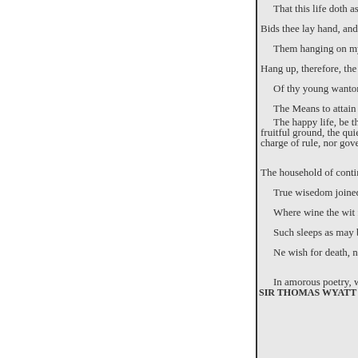That this life doth assuage
Bids thee lay hand, and feel
Them hanging on my chin. Th
Hang up, therefore, the bit
Of thy young wanton time; An
The Means to attain Happy Li
The happy life, be these, I find fruitful ground, the quiet mind, T charge of rule, nor governance; W
The household of continuance: T
True wisedom joined with sim
Where wine the wit may not d
Such sleeps as may beguile th
Ne wish for death, ne fear his
In amorous poetry, which may
SIR THOMAS WYATT (1503–